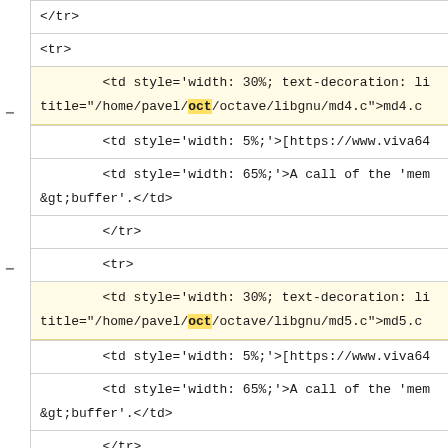</tr>
<tr>
<td style='width: 30%; text-decoration: li
title="/home/pavel/oct/octave/libgnu/md4.c">md4.c
<td style='width: 5%;'>[https://www.viva64
<td style='width: 65%;'>A call of the 'mem
&gt;buffer'.</td>
</tr>
<tr>
<td style='width: 30%; text-decoration: li
title="/home/pavel/oct/octave/libgnu/md5.c">md5.c
<td style='width: 5%;'>[https://www.viva64
<td style='width: 65%;'>A call of the 'mem
&gt;buffer'.</td>
</tr>
<tr>